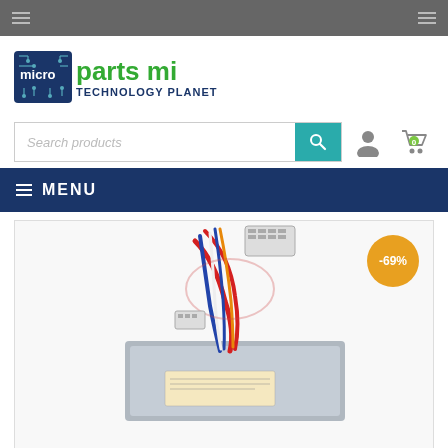[Figure (logo): Microparts MI Technology Planet logo — blue circuit board icon with text 'micro' in white on blue square, 'parts mi' in green and dark blue, 'TECHNOLOGY PLANET' subtitle]
[Figure (screenshot): Search bar with 'Search products' placeholder text and a teal search button with magnifying glass icon; user account icon and shopping cart icon to the right]
≡ MENU
[Figure (photo): A computer power supply unit with bundled red, blue, white and multicolor cables on top, showing a silver metal chassis with a label sticker, -69% discount badge in orange circle]